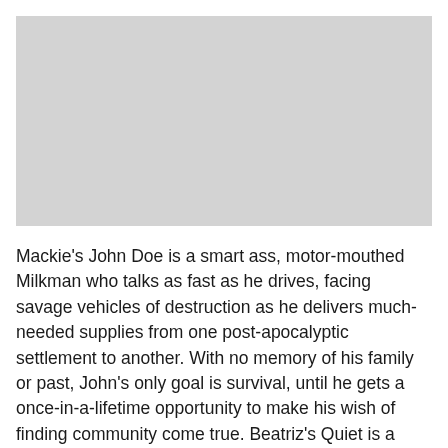[Figure (photo): Large light grey rectangular placeholder image occupying the top portion of the page]
Mackie's John Doe is a smart ass, motor-mouthed Milkman who talks as fast as he drives, facing savage vehicles of destruction as he delivers much-needed supplies from one post-apocalyptic settlement to another. With no memory of his family or past, John's only goal is survival, until he gets a once-in-a-lifetime opportunity to make his wish of finding community come true. Beatriz's Quiet is a ferocious, badass car thief who acts purely on instinct – you couldn't stop her any more than a manhole could stop a volcano. Coming from a community that oppressed her into silence, Quiet's